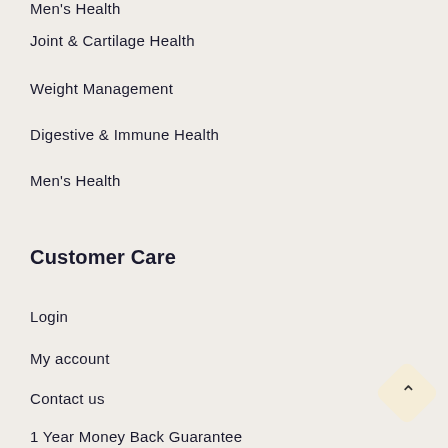Men's Health
Joint & Cartilage Health
Weight Management
Digestive & Immune Health
Men's Health
Customer Care
Login
My account
Contact us
1 Year Money Back Guarantee